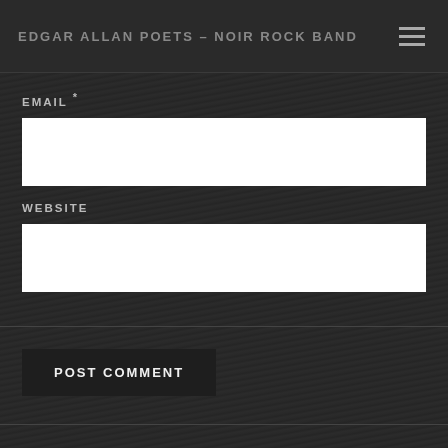EDGAR ALLAN POETS – NOIR ROCK BAND
EMAIL *
WEBSITE
POST COMMENT
JOIN THE NOIR FAMILY
[Figure (illustration): White fedora hat with brim, small ghost-like figure on top, on black background]